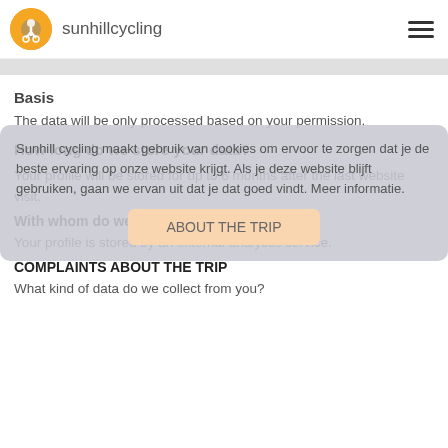sunhillcycling
Basis
The data will be only processed based on your permission.
How long do we store your data?
Your profile will be stored for up to 6 months after the last website visit.
With whom do we share your data?
Your profile is stored by an external analytics service.
COMPLAINTS ABOUT THE TRIP
What kind of data do we collect from you?
Sunhill cycling maakt gebruik van cookies om ervoor te zorgen dat je de beste ervaring op onze website krijgt. Als je deze website blijft gebruiken, gaan we ervan uit dat je dat goed vindt. Meer informatie.